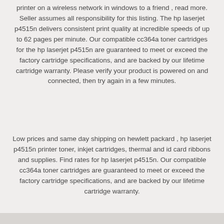printer on a wireless network in windows to a friend , read more. Seller assumes all responsibility for this listing. The hp laserjet p4515n delivers consistent print quality at incredible speeds of up to 62 pages per minute. Our compatible cc364a toner cartridges for the hp laserjet p4515n are guaranteed to meet or exceed the factory cartridge specifications, and are backed by our lifetime cartridge warranty. Please verify your product is powered on and connected, then try again in a few minutes.
Low prices and same day shipping on hewlett packard , hp laserjet p4515n printer toner, inkjet cartridges, thermal and id card ribbons and supplies. Find rates for hp laserjet p4515n. Our compatible cc364a toner cartridges are guaranteed to meet or exceed the factory cartridge specifications, and are backed by our lifetime cartridge warranty.